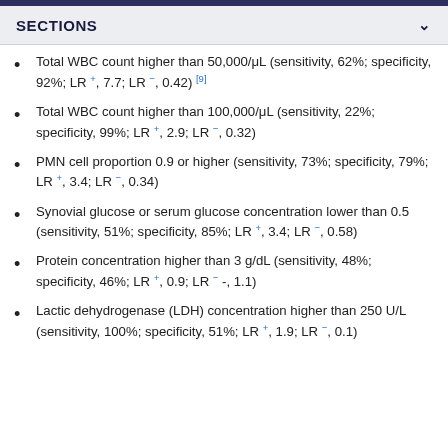SECTIONS
Total WBC count higher than 50,000/μL (sensitivity, 62%; specificity, 92%; LR +, 7.7; LR −, 0.42) [9]
Total WBC count higher than 100,000/μL (sensitivity, 22%; specificity, 99%; LR +, 2.9; LR −, 0.32)
PMN cell proportion 0.9 or higher (sensitivity, 73%; specificity, 79%; LR +, 3.4; LR −, 0.34)
Synovial glucose or serum glucose concentration lower than 0.5 (sensitivity, 51%; specificity, 85%; LR +, 3.4; LR −, 0.58)
Protein concentration higher than 3 g/dL (sensitivity, 48%; specificity, 46%; LR +, 0.9; LR − -, 1.1)
Lactic dehydrogenase (LDH) concentration higher than 250 U/L (sensitivity, 100%; specificity, 51%; LR +, 1.9; LR −, 0.1)